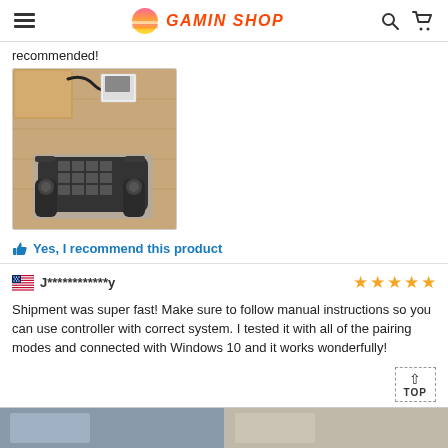GAMIN SHOP
recommended!
[Figure (photo): Photo of a gaming controller unboxed on a wooden surface, with USB cable and manual visible]
Yes, I recommend this product
J************y — 5 stars
Shipment was super fast! Make sure to follow manual instructions so you can use controller with correct system. I tested it with all of the pairing modes and connected with Windows 10 and it works wonderfully!